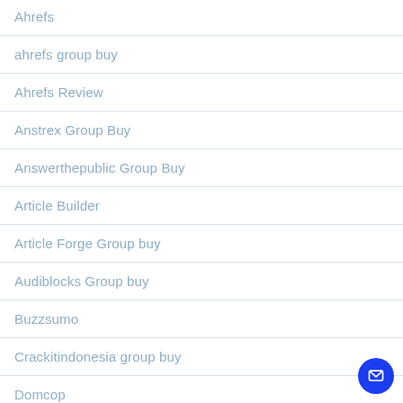Ahrefs
ahrefs group buy
Ahrefs Review
Anstrex Group Buy
Answerthepublic Group Buy
Article Builder
Article Forge Group buy
Audiblocks Group buy
Buzzsumo
Crackitindonesia group buy
Domcop
Dropship Spy group buy